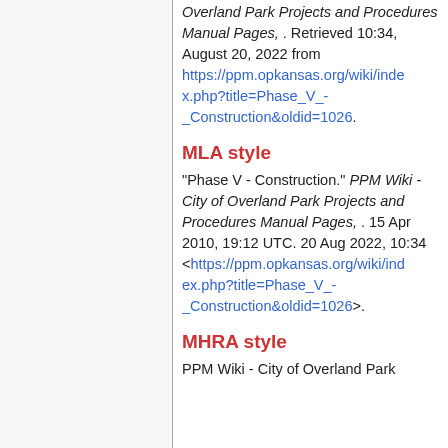Overland Park Projects and Procedures Manual Pages, . Retrieved 10:34, August 20, 2022 from https://ppm.opkansas.org/wiki/index.php?title=Phase_V_-_Construction&oldid=1026.
MLA style
"Phase V - Construction." PPM Wiki - City of Overland Park Projects and Procedures Manual Pages, . 15 Apr 2010, 19:12 UTC. 20 Aug 2022, 10:34 <https://ppm.opkansas.org/wiki/index.php?title=Phase_V_-_Construction&oldid=1026>.
MHRA style
PPM Wiki - City of Overland Park